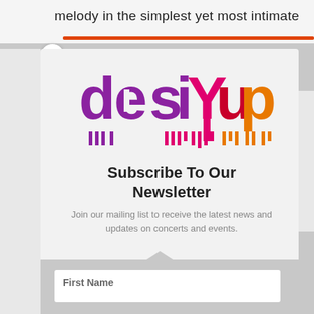melody in the simplest yet most intimate
[Figure (logo): DesiYup logo with colorful lettering in purple, pink/red, and orange with vertical bar decorations below]
Subscribe To Our Newsletter
Join our mailing list to receive the latest news and updates on concerts and events.
First Name